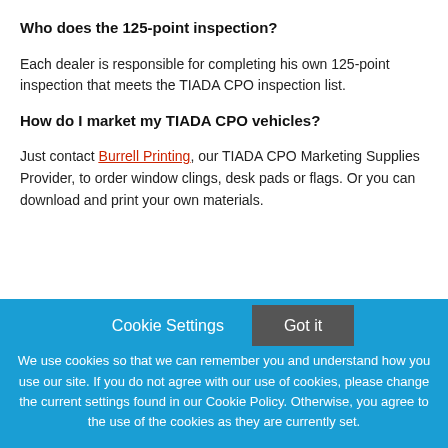Who does the 125-point inspection?
Each dealer is responsible for completing his own 125-point inspection that meets the TIADA CPO inspection list.
How do I market my TIADA CPO vehicles?
Just contact Burrell Printing, our TIADA CPO Marketing Supplies Provider, to order window clings, desk pads or flags. Or you can download and print your own materials.
Cookie Settings
Got it
We use cookies so that we can remember you and understand how you use our site. If you do not agree with our use of cookies, please change the current settings found in our Cookie Policy. Otherwise, you agree to the use of the cookies as they are currently set.